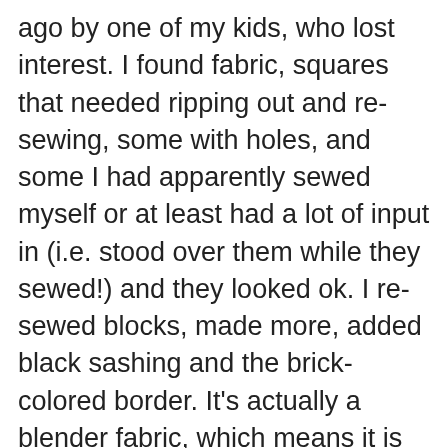ago by one of my kids, who lost interest. I found fabric, squares that needed ripping out and re-sewing, some with holes, and some I had apparently sewed myself or at least had a lot of input in (i.e. stood over them while they sewed!) and they looked ok. I re-sewed blocks, made more, added black sashing and the brick-colored border. It's actually a blender fabric, which means it is not solid. There are little bits of other colors in the fabric that help it go with most of the blocks. For the back, I took the large pieces that were leftover, along with the extra squares that had been cut and sewed them all together until they made a piece big enough to back it. I didn't get a picture of that, but it looks nice to me. I'll show that once it